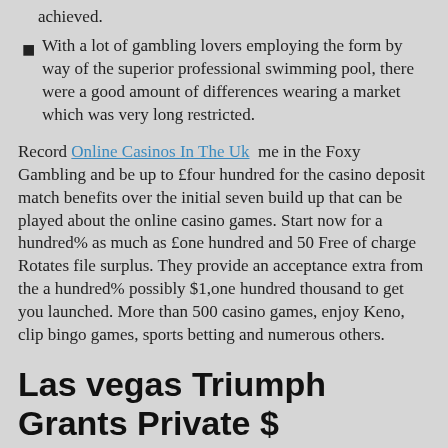achieved.
With a lot of gambling lovers employing the form by way of the superior professional swimming pool, there were a good amount of differences wearing a market which was very long restricted.
Record Online Casinos In The Uk me in the Foxy Gambling and be up to £four hundred for the casino deposit match benefits over the initial seven build up that can be played about the online casino games. Start now for a hundred% as much as £one hundred and 50 Free of charge Rotates file surplus. They provide an acceptance extra from the a hundred% possibly $1,one hundred thousand to get you launched. More than 500 casino games, enjoy Keno, clip bingo games, sports betting and numerous others.
Las vegas Triumph Grants Private $
They're going to come to you through the get in touch with because